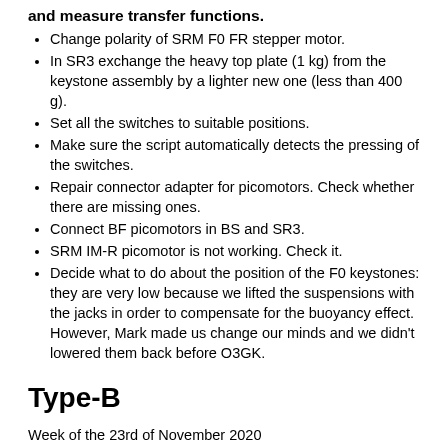and measure transfer functions.
Change polarity of SRM F0 FR stepper motor.
In SR3 exchange the heavy top plate (1 kg) from the keystone assembly by a lighter new one (less than 400 g).
Set all the switches to suitable positions.
Make sure the script automatically detects the pressing of the switches.
Repair connector adapter for picomotors. Check whether there are missing ones.
Connect BF picomotors in BS and SR3.
SRM IM-R picomotor is not working. Check it.
Decide what to do about the position of the F0 keystones: they are very low because we lifted the suspensions with the jacks in order to compensate for the buoyancy effect. However, Mark made us change our minds and we didn't lowered them back before O3GK.
Type-B
Week of the 23rd of November 2020
[Hirata, Washimi, Satou, Aso, Fabian]